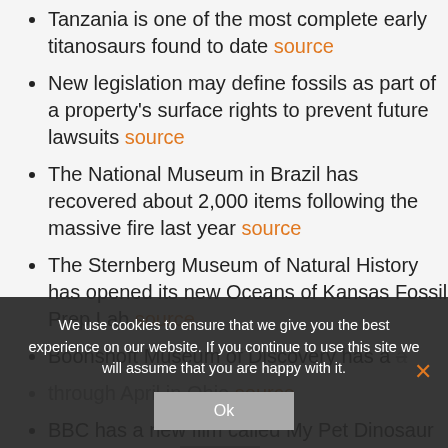Tanzania is one of the most complete early titanosaurs found to date source
New legislation may define fossils as part of a property's surface rights to prevent future lawsuits source
The National Museum in Brazil has recovered about 2,000 items following the massive fire last year source
The Sternberg Museum of Natural History has opened its new Oceans of Kansas Fossil Prep Lab source
Boonshoft Museum of Discovery has a … through April in Ohio source
BBC has a new film called My Pet Dinosaur including dinos … and science fiction source
We use cookies to ensure that we give you the best experience on our website. If you continue to use this site we will assume that you are happy with it.